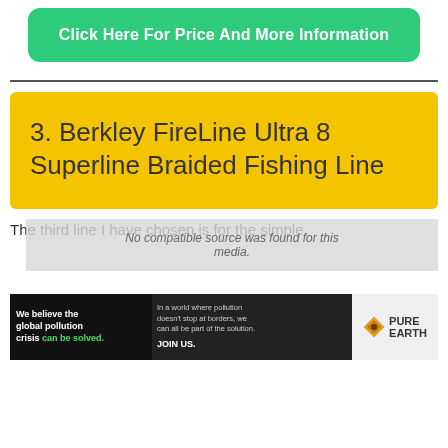[Figure (other): Green rounded rectangle button with white text: Click Here For Price And More Information]
3. Berkley FireLine Ultra 8 Superline Braided Fishing Line
The third line I have chosen is for the simple
[Figure (other): Advertisement banner: Pure Earth - We believe the global pollution crisis can be solved. In a world where pollution doesn't stop at borders, we can all be part of the solution. JOIN US.]